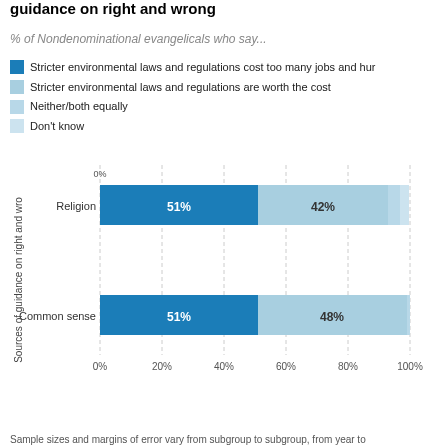guidance on right and wrong
% of Nondenominational evangelicals who say...
Stricter environmental laws and regulations cost too many jobs and hurt
Stricter environmental laws and regulations are worth the cost
Neither/both equally
Don't know
[Figure (stacked-bar-chart): Sources of guidance on right and wrong]
Sample sizes and margins of error vary from subgroup to subgroup, from year to